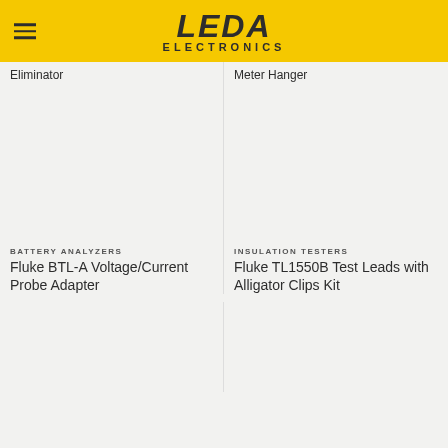LEDA ELECTRONICS
Eliminator
Meter Hanger
[Figure (photo): Product image area for left column item (blank/empty)]
[Figure (photo): Product image area for right column item (blank/empty)]
BATTERY ANALYZERS
Fluke BTL-A Voltage/Current Probe Adapter
INSULATION TESTERS
Fluke TL1550B Test Leads with Alligator Clips Kit
[Figure (photo): Bottom product image area left (blank/empty)]
[Figure (photo): Bottom product image area right (blank/empty)]